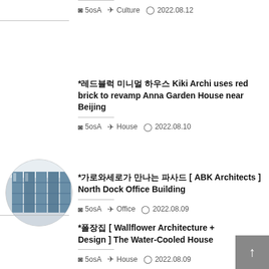⊙ 5osA  ⛉ Culture  ◎ 2022.08.12
*레드블럭 미니멀 하우스 Kiki Archi uses red brick to revamp Anna Garden House near Beijing
⊙ 5osA  ⛉ House  ◎ 2022.08.10
[Figure (photo): Circular thumbnail photo of a building facade with blue glass panels]
*가로와세로가 만나는 파사드 [ ABK Architects ] North Dock Office Building
⊙ 5osA  ⛉ Office  ◎ 2022.08.09
*폴장집 [ Wallflower Architecture + Design ] The Water-Cooled House
⊙ 5osA  ⛉ House  ◎ 2022.08.09